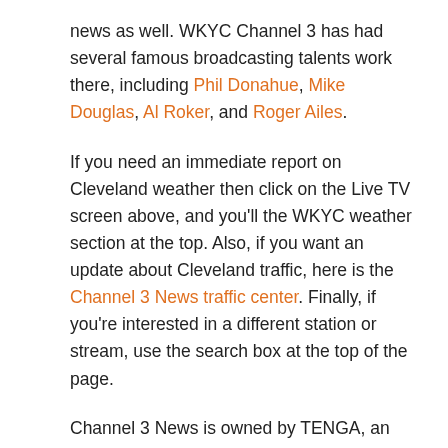news as well. WKYC Channel 3 has had several famous broadcasting talents work there, including Phil Donahue, Mike Douglas, Al Roker, and Roger Ailes.
If you need an immediate report on Cleveland weather then click on the Live TV screen above, and you'll the WKYC weather section at the top. Also, if you want an update about Cleveland traffic, here is the Channel 3 News traffic center. Finally, if you're interested in a different station or stream, use the search box at the top of the page.
Channel 3 News is owned by TENGA, an offshoot of the Gannett Company. It is an affiliate of the NBC network. As an affiliate, Cleveland NBC tends to focus its original news coverage on local issues during the traditional morning, mid-day, evening and late-night news slots. WKYC TV also airs Cleveland Indians TV broadcasts along